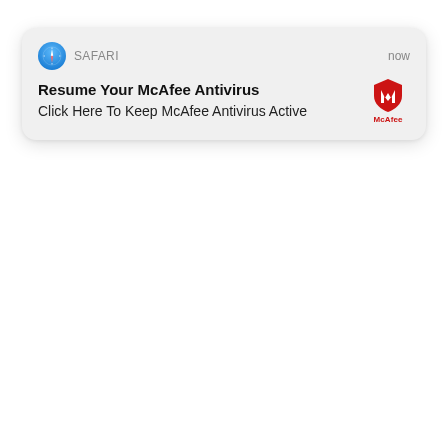[Figure (screenshot): macOS/iOS Safari browser push notification popup showing a fake McAfee Antivirus alert. The notification card has a Safari compass icon, 'SAFARI' label, 'now' timestamp, bold title 'Resume Your McAfee Antivirus', subtitle 'Click Here To Keep McAfee Antivirus Active', and McAfee shield logo on the right.]